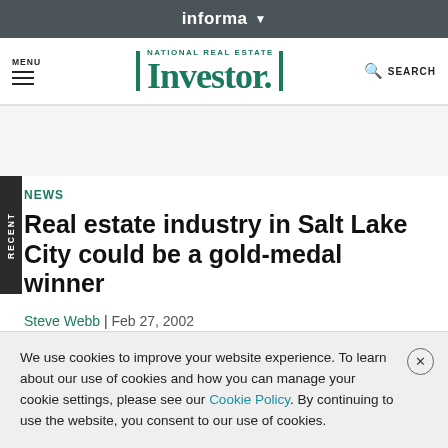informa ▼
[Figure (logo): National Real Estate Investor logo with teal/green color, with MENU and hamburger icon on the left, and SEARCH on the right]
NEWS
Real estate industry in Salt Lake City could be a gold-medal winner
Steve Webb | Feb 27, 2002
We use cookies to improve your website experience. To learn about our use of cookies and how you can manage your cookie settings, please see our Cookie Policy. By continuing to use the website, you consent to our use of cookies.